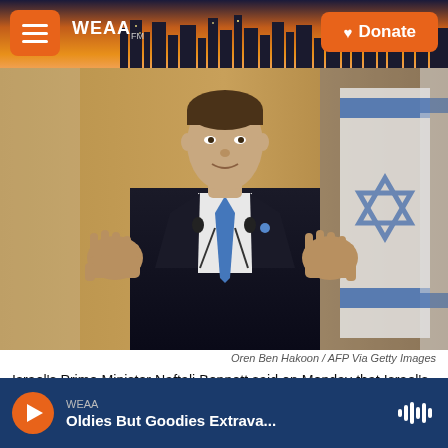WEAA | Donate
[Figure (photo): Israel's Prime Minister Naftali Bennett standing at a podium with Israeli flags in the background, hands raised with palms facing outward]
Oren Ben Hakoon / AFP Via Getty Images
Israel's Prime Minister Naftali Bennett said on Monday that Israel's governing coalition has collapsed and the country will hold new elections.
WEAA
Oldies But Goodies Extrava...